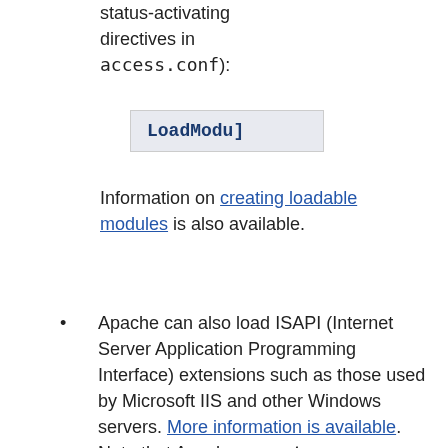status-activating directives in access.conf):
[Figure (screenshot): Code box showing 'LoadModu]' in bold blue monospace text on a light grey background]
Information on creating loadable modules is also available.
Apache can also load ISAPI (Internet Server Application Programming Interface) extensions such as those used by Microsoft IIS and other Windows servers. More information is available. Note that Apache cannot